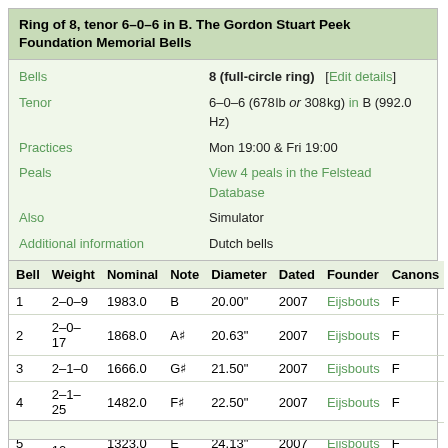Ring of 8, tenor 6–0–6 in B. The Gordon Stuart Peek Foundation Memorial Bells
|  |  |
| --- | --- |
| Bells | 8 (full-circle ring)   [Edit details] |
| Tenor | 6–0–6 (678 lb or 308 kg) in B (992.0 Hz) |
| Practices | Mon 19:00 & Fri 19:00 |
| Peals | View 4 peals in the Felstead Database |
| Also | Simulator |
| Additional information | Dutch bells |
| Bell | Weight | Nominal | Note | Diameter | Dated | Founder | Canons |
| --- | --- | --- | --- | --- | --- | --- | --- |
| 1 | 2–0–9 | 1983.0 | B | 20.00" | 2007 | Eijsbouts | F |
| 2 | 2–0–17 | 1868.0 | A♯ | 20.63" | 2007 | Eijsbouts | F |
| 3 | 2–1–0 | 1666.0 | G♯ | 21.50" | 2007 | Eijsbouts | F |
| 4 | 2–1–25 | 1482.0 | F♯ | 22.50" | 2007 | Eijsbouts | F |
| 5 | 2–3–10 | 1323.0 | E | 24.13" | 2007 | Eijsbouts | F |
| 6 | 3–1–26 | 1248.0 | D♯ | 25.75" | 2007 | Eijsbouts | F |
| 7 | 4–1–2 | 1111.0 | C♯ | 27.88" | 2007 | Eijsbouts | F |
| 8 | 6–0–6 | 992.0 | B | 31.38" | 2007 | Eijsbouts | F |
Source: A Higson; JCB(twr website); TimJ(REMRKS255/262)
Contributed by: Andrew Higson